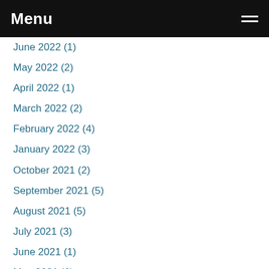Menu
June 2022 (1)
May 2022 (2)
April 2022 (1)
March 2022 (2)
February 2022 (4)
January 2022 (3)
October 2021 (2)
September 2021 (5)
August 2021 (5)
July 2021 (3)
June 2021 (1)
May 2021 (6)
April 2021 (3)
March 2021 (6)